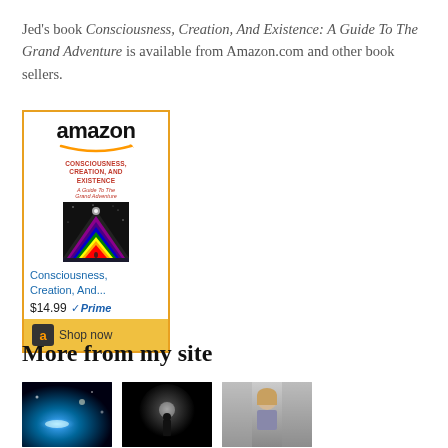Jed's book Consciousness, Creation, And Existence: A Guide To The Grand Adventure is available from Amazon.com and other book sellers.
[Figure (other): Amazon product listing widget for the book 'Consciousness, Creation, And Existence: A Guide To The Grand Adventure' showing price $14.99, Prime badge, and Shop now button]
More from my site
[Figure (photo): Three thumbnail images: first shows a blue glowing light/UFO in dark space, second shows a silhouette of a person standing in a tunnel with light, third shows a blonde person outdoors.]